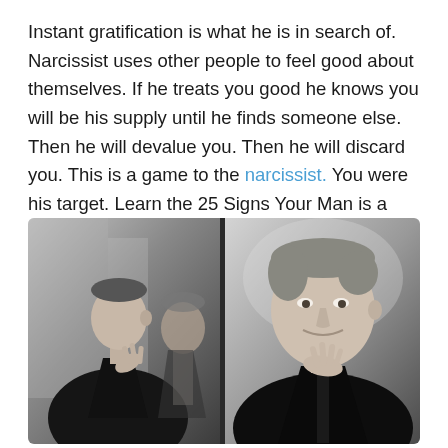Instant gratification is what he is in search of. Narcissist uses other people to feel good about themselves. If he treats you good he knows you will be his supply until he finds someone else. Then he will devalue you. Then he will discard you. This is a game to the narcissist. You were his target. Learn the 25 Signs Your Man is a Narcissist.
[Figure (photo): Black and white photo of a young man in a suit looking at his reflection in a mirror, with his hand raised thoughtfully near his chin. Two panels showing front and reflection views.]